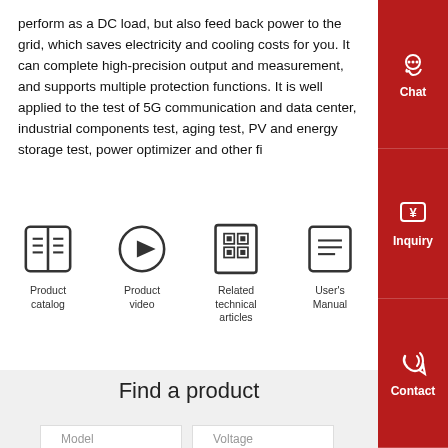perform as a DC load, but also feed back power to the grid, which saves electricity and cooling costs for you. It can complete high-precision output and measurement, and supports multiple protection functions. It is well applied to the test of 5G communication and data center, industrial components test, aging test, PV and energy storage test, power optimizer and other fi...
[Figure (infographic): Four icon buttons: Product catalog (book icon), Product video (play button icon), Related technical articles (QR code icon), User's Manual (document icon)]
[Figure (infographic): Right sidebar with three red buttons: Chat (headset icon), Inquiry (price tag icon), Contact (phone icon)]
Find a product
| Model | Voltage |
| --- | --- |